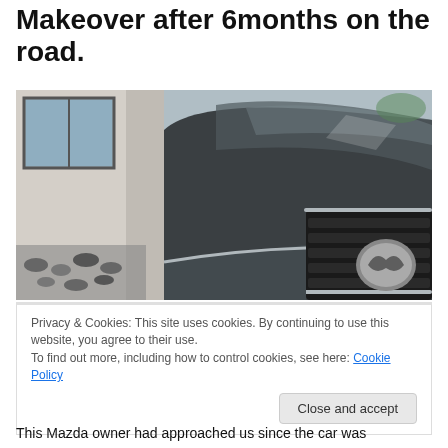Makeover after 6months on the road.
[Figure (photo): Close-up front view of a dark grey Mazda car showing the grille, hood, and front bumper, parked near a building with decorative pebbles]
Privacy & Cookies: This site uses cookies. By continuing to use this website, you agree to their use.
To find out more, including how to control cookies, see here: Cookie Policy
This Mazda owner had approached us since the car was